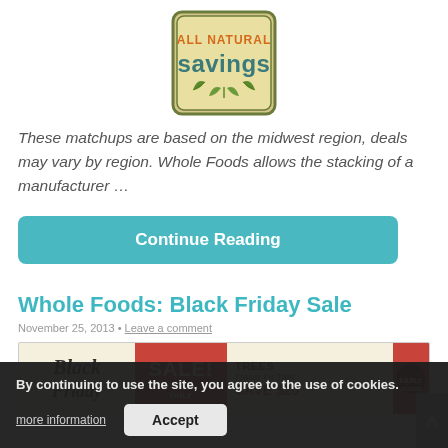[Figure (logo): All Natural Savings logo — tan/olive bordered box with orange 'ALL NATURAL' text and teal 'savings' text with green leaf icons]
These matchups are based on the midwest region, deals may vary by region. Whole Foods allows the stacking of a manufacturer …
Continue Reading
Whole Foods: Black Friday Sale
November 25, 2013 • Leave a comment
[Figure (other): Whole Foods Black Friday Sale banner showing 'Black Friday' cursive text, 'SALE! 1 DAY ONLY', Christmas Trees Fraser Fir Tree SAVE $20 promotional image]
By continuing to use the site, you agree to the use of cookies.
more information
Accept